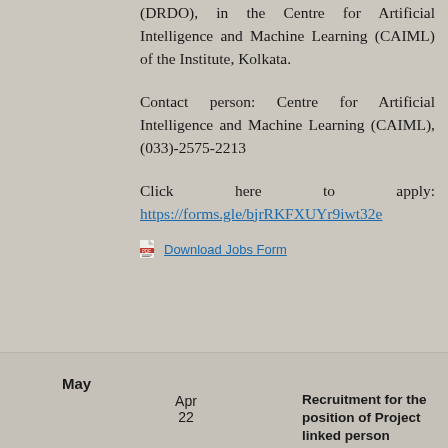(DRDO), in the Centre for Artificial Intelligence and Machine Learning (CAIML) of the Institute, Kolkata.
Contact person: Centre for Artificial Intelligence and Machine Learning (CAIML), (033)-2575-2213
Click here to apply: https://forms.gle/bjrRKFXUYr9iwt32e
Download Jobs Form
May
Apr
22
Recruitment for the position of Project linked person